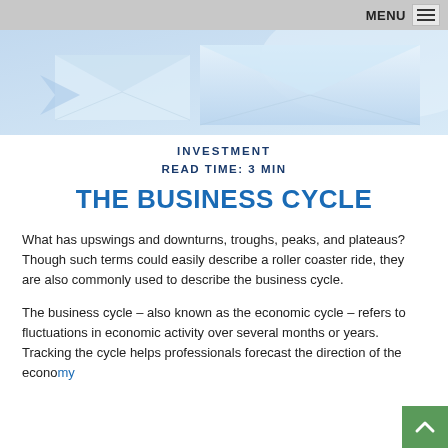MENU
[Figure (photo): Light blue abstract image with overlapping paper/envelope shapes in soft blue tones]
INVESTMENT
READ TIME: 3 MIN
THE BUSINESS CYCLE
What has upswings and downturns, troughs, peaks, and plateaus? Though such terms could easily describe a roller coaster ride, they are also commonly used to describe the business cycle.
The business cycle – also known as the economic cycle – refers to fluctuations in economic activity over several months or years. Tracking the cycle helps professionals forecast the direction of the economy